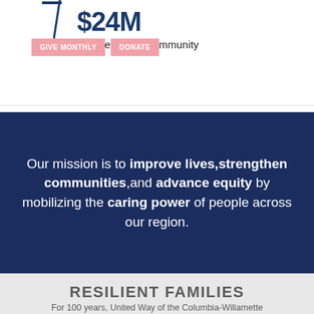$24M invested in the community
[Figure (infographic): Pink buttons labeled GIVE MONTHLY and DONATE with a decorative diagonal line element]
Our mission is to improve lives, strengthen communities, and advance equity by mobilizing the caring power of people across our region.
RESILIENT FAMILIES
For 100 years, United Way of the Columbia-Willamette